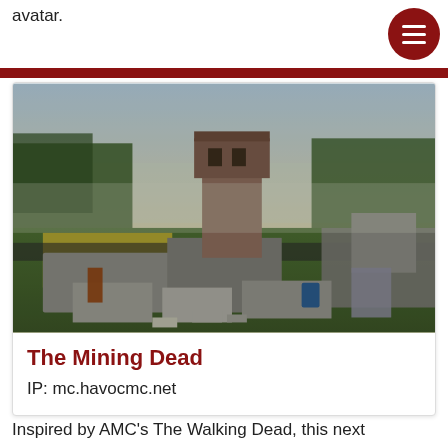avatar.
[Figure (screenshot): Screenshot of The Mining Dead Minecraft server showing a post-apocalyptic prison-like structure with a guard tower, walls, and green landscape with trees in the background.]
The Mining Dead
IP: mc.havocmc.net
Inspired by AMC's The Walking Dead, this next